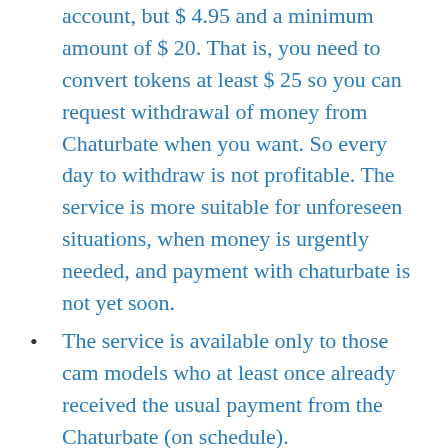account, but $ 4.95 and a minimum amount of $ 20. That is, you need to convert tokens at least $ 25 so you can request withdrawal of money from Chaturbate when you want. So every day to withdraw is not profitable. The service is more suitable for unforeseen situations, when money is urgently needed, and payment with chaturbate is not yet soon.
The service is available only to those cam models who at least once already received the usual payment from the Chaturbate (on schedule).
That's all. How to draw such a conclusion? Yes Easy! Convert the required number of tokens and should see something like: